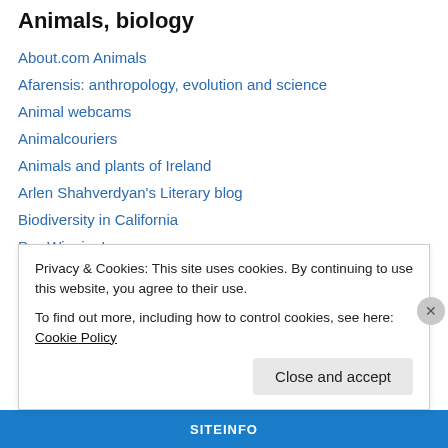Animals, biology
About.com Animals
Afarensis: anthropology, evolution and science
Animal webcams
Animalcouriers
Animals and plants of Ireland
Arlen Shahverdyan's Literary blog
Biodiversity in California
Dar-Winning!
INTO THE EREMOZOIC
Laelaps
The annotated budak
What's Wild in Cornwall
Privacy & Cookies: This site uses cookies. By continuing to use this website, you agree to their use.
To find out more, including how to control cookies, see here: Cookie Policy
Close and accept